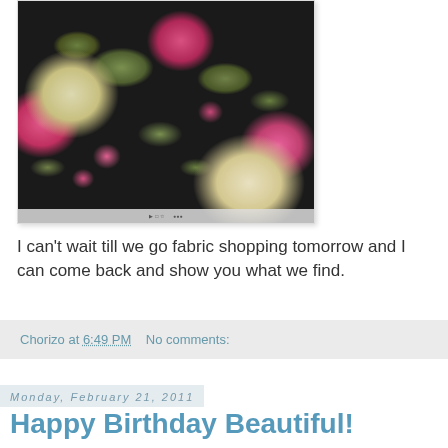[Figure (photo): Floral fabric with pink and cream chrysanthemum-style flowers and green foliage on a dark/black background]
I can't wait till we go fabric shopping tomorrow and I can come back and show you what we find.
Chorizo at 6:49 PM    No comments:
Monday, February 21, 2011
Happy Birthday Beautiful!